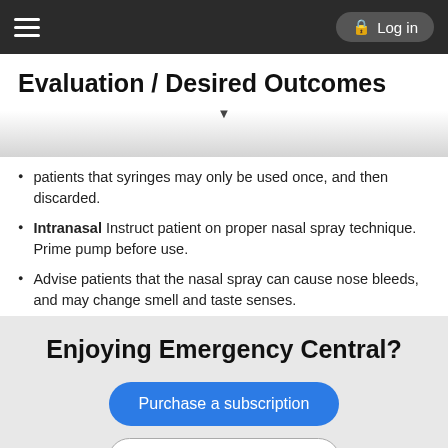Evaluation / Desired Outcomes | Log in
Evaluation / Desired Outcomes
patients that syringes may only be used once, and then discarded.
Intranasal Instruct patient on proper nasal spray technique. Prime pump before use.
Advise patients that the nasal spray can cause nose bleeds, and may change smell and taste senses.
Evaluation/Desired Outcomes
Decrease in the spread of prostate cancer.
Decrease in lesions and pain in endometriosis.
Enjoying Emergency Central?
Purchase a subscription
I'm already a subscriber